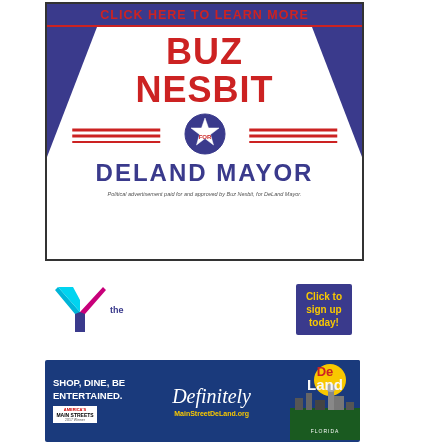[Figure (infographic): Political advertisement for Buz Nesbit for DeLand Mayor. Dark blue header reads 'CLICK HERE TO LEARN MORE', then large red text 'BUZ NESBIT' with wing graphics and a star badge reading 'FOR', and dark blue text 'DELAND MAYOR'. Disclaimer at bottom reads 'Political advertisement paid for and approved by Buz Nesbit, for DeLand Mayor.']
[Figure (logo): YMCA logo (the Y) on left, purple 'Click to sign up today!' button on right side]
[Figure (infographic): Main Street DeLand banner ad with dark blue background. Left side: 'SHOP, DINE, BE ENTERTAINED.' with America's Main Streets logo. Center: cursive 'Definitely' script. Right: 'DeLand' in colorful letters with city silhouette and 'MainStreetDeLand.org']